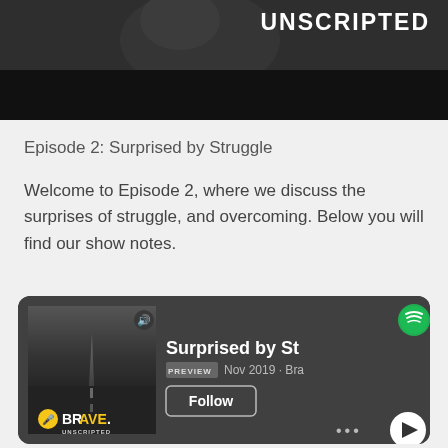[Figure (photo): Top banner showing dark/black background with 'UNSCRIPTED' text in white bold letters at top right]
Episode 2: Surprised by Struggle
Welcome to Episode 2, where we discuss the surprises of struggle, and overcoming. Below you will find our show notes.
[Figure (screenshot): Spotify embed player card showing BRAVE UNSCRIPTED podcast, episode 'Surprised by St[ruggle]', Nov 2019, with album art, Follow button, play button, and Spotify logo]